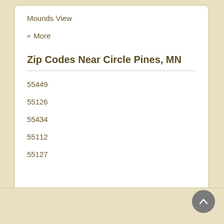Mounds View
» More
Zip Codes Near Circle Pines, MN
55449
55126
55434
55112
55127